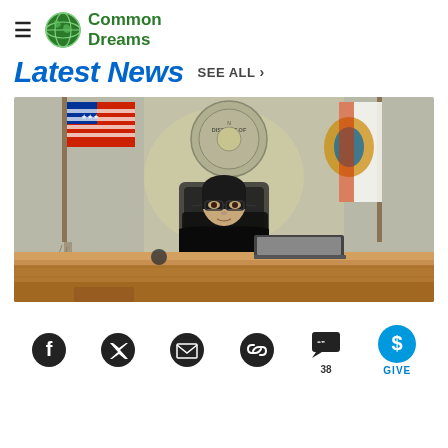Common Dreams
Latest News  SEE ALL >
[Figure (illustration): A courtroom sketch showing a female judge with glasses seated at a judicial bench, wearing black robes. Behind her are an American flag on the left and another flag on the right. A court seal is visible on the wall behind her. A laptop/screen is on the bench in front of her.]
Facebook, Twitter, Email, Link, Comments (38), GIVE